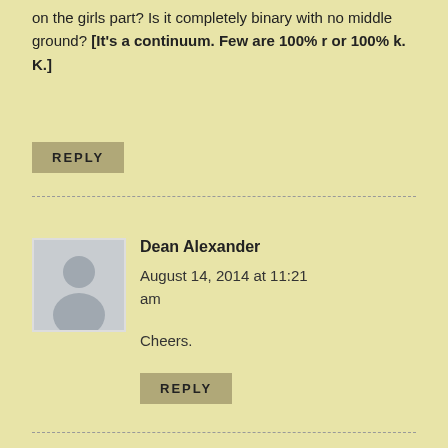on the girls part? Is it completely binary with no middle ground? [It's a continuum. Few are 100% r or 100% k. K.]
REPLY
Dean Alexander
August 14, 2014 at 11:21 am
Cheers.
REPLY